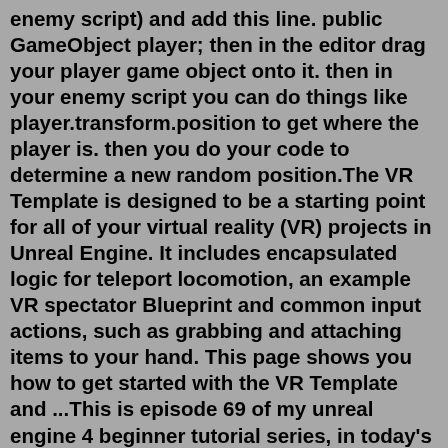enemy script) and add this line. public GameObject player; then in the editor drag your player game object onto it. then in your enemy script you can do things like player.transform.position to get where the player is. then you do your code to determine a new random position.The VR Template is designed to be a starting point for all of your virtual reality (VR) projects in Unreal Engine. It includes encapsulated logic for teleport locomotion, an example VR spectator Blueprint and common input actions, such as grabbing and attaching items to your hand. This page shows you how to get started with the VR Template and ...This is episode 69 of my unreal engine 4 beginner tutorial series, in today's episode we teleport the player to their last location using the checkpoint syst... When connecting to a server for the first time as a client. When you want to end a multiplayer game, and start a new one. There are three main function that drive travelling: UEngine::Browse, UWorld::ServerTravel, and APlayerController::ClientTravel. There are also it...